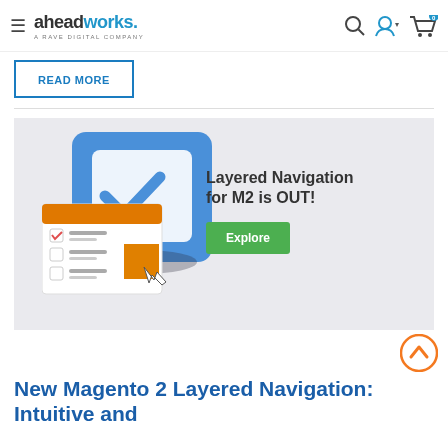aheadworks. A RAVE DIGITAL COMPANY
READ MORE
[Figure (illustration): Promotional banner for Layered Navigation for M2 with checkbox list illustration and blue checkmark icon. Text reads: Layered Navigation for M2 is OUT! with a green Explore button.]
New Magento 2 Layered Navigation: Intuitive and